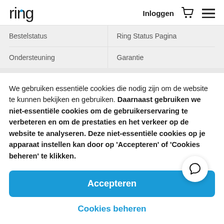ring    Inloggen
Bestelstatus
Ring Status Pagina
Ondersteuning
Garantie
We gebruiken essentiële cookies die nodig zijn om de website te kunnen bekijken en gebruiken. Daarnaast gebruiken we niet-essentiële cookies om de gebruikerservaring te verbeteren en om de prestaties en het verkeer op de website te analyseren. Deze niet-essentiële cookies op je apparaat instellen kan door op 'Accepteren' of 'Cookies beheren' te klikken.
Accepteren
Cookies beheren